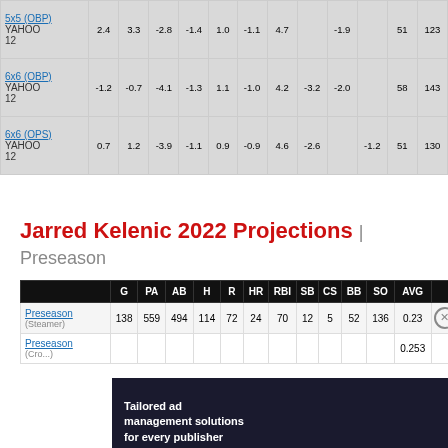|  | G | PA | AB | H | R | HR | RBI | SB | CS | BB | SO | AVG |  |
| --- | --- | --- | --- | --- | --- | --- | --- | --- | --- | --- | --- | --- | --- |
| 5x5 (OBP) YAHOO 12 | 2.4 | 3.3 | -2.8 | -1.4 | 1.0 | -1.1 | 4.7 |  | -1.9 |  | 51 | 123 |
| 6x6 (OBP) YAHOO 12 | -1.2 | -0.7 | -4.1 | -1.3 | 1.1 | -1.0 | 4.2 | -3.2 | -2.0 |  | 58 | 143 |
| 6x6 (OPS) YAHOO 12 | 0.7 | 1.2 | -3.9 | -1.1 | 0.9 | -0.9 | 4.6 | -2.6 |  | -1.2 | 51 | 130 |
Jarred Kelenic 2022 Projections | Preseason
|  | G | PA | AB | H | R | HR | RBI | SB | CS | BB | SO | AVG |  |
| --- | --- | --- | --- | --- | --- | --- | --- | --- | --- | --- | --- | --- | --- |
| Preseason (Steamer) | 138 | 559 | 494 | 114 | 72 | 24 | 70 | 12 | 5 | 52 | 136 | 0.23 |  |
| Preseason (Cro...) |  |  |  |  |  |  |  |  |  |  |  | 0.253 |  |